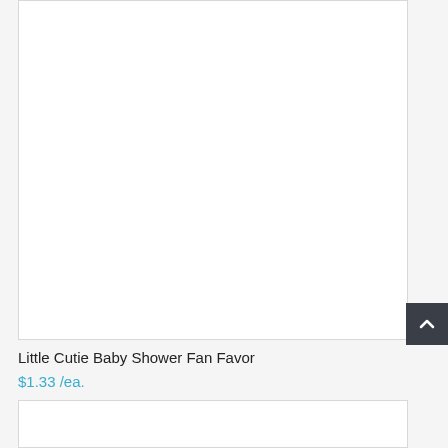[Figure (photo): Product image placeholder area for Little Cutie Baby Shower Fan Favor — white empty rectangle with light border]
Little Cutie Baby Shower Fan Favor
$1.33 /ea.
[Figure (photo): Second product image placeholder area — white empty rectangle with light border, partially visible at bottom]
[Figure (other): Back to top button — dark charcoal square with upward chevron arrow icon, positioned at right edge]